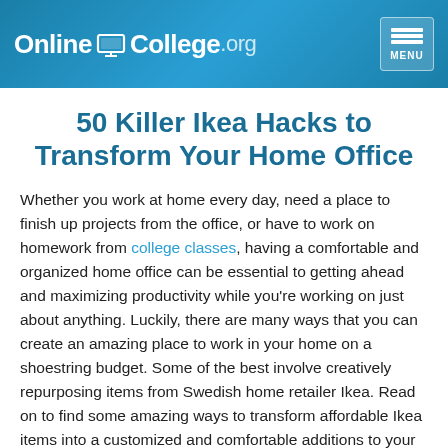OnlineCollege.org
50 Killer Ikea Hacks to Transform Your Home Office
Whether you work at home every day, need a place to finish up projects from the office, or have to work on homework from college classes, having a comfortable and organized home office can be essential to getting ahead and maximizing productivity while you're working on just about anything. Luckily, there are many ways that you can create an amazing place to work in your home on a shoestring budget. Some of the best involve creatively repurposing items from Swedish home retailer Ikea. Read on to find some amazing ways to transform affordable Ikea items into a customized and comfortable additions to your home office that will make you happy to head into your home office.